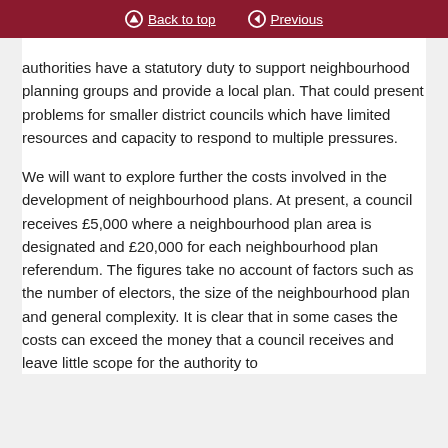Back to top | Previous
authorities have a statutory duty to support neighbourhood planning groups and provide a local plan. That could present problems for smaller district councils which have limited resources and capacity to respond to multiple pressures.
We will want to explore further the costs involved in the development of neighbourhood plans. At present, a council receives £5,000 where a neighbourhood plan area is designated and £20,000 for each neighbourhood plan referendum. The figures take no account of factors such as the number of electors, the size of the neighbourhood plan and general complexity. It is clear that in some cases the costs can exceed the money that a council receives and leave little scope for the authority to